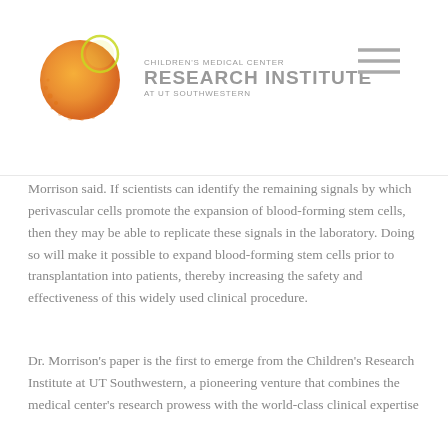[Figure (logo): Children's Medical Center Research Institute at UT Southwestern logo with orange halftone sphere and green circle]
Morrison said. If scientists can identify the remaining signals by which perivascular cells promote the expansion of blood-forming stem cells, then they may be able to replicate these signals in the laboratory. Doing so will make it possible to expand blood-forming stem cells prior to transplantation into patients, thereby increasing the safety and effectiveness of this widely used clinical procedure.
Dr. Morrison's paper is the first to emerge from the Children's Research Institute at UT Southwestern, a pioneering venture that combines the medical center's research prowess with the world-class clinical expertise